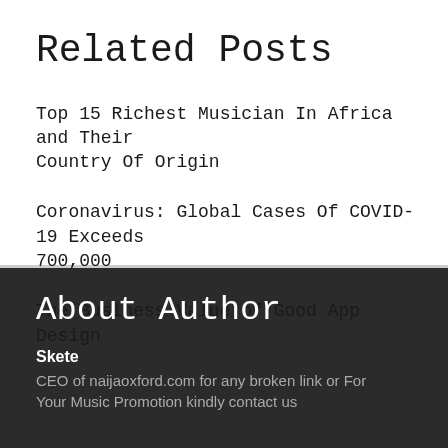Related Posts
Top 15 Richest Musician In Africa and Their Country Of Origin
Coronavirus: Global Cases Of COVID-19 Exceeds 700,000
The Business Value of Good App Design
About Author
Skete
CEO of naijaoxford.com for any broken link or For Your Music Promotion kindly contact us